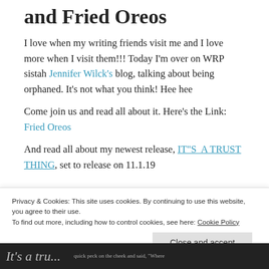and Fried Oreos
I love when my writing friends visit me and I love more when I visit them!!! Today I'm over on WRP sistah Jennifer Wilck's blog, talking about being orphaned. It's not what you think! Hee hee
Come join us and read all about it. Here's the Link: Fried Oreos
And read all about my newest release, IT"S A TRUST THING, set to release on 11.1.19
[Figure (photo): Book cover image - It's a Trust Thing text visible on dark background]
[Figure (photo): Bottom strip showing book interior or author photo with text snippet]
Privacy & Cookies: This site uses cookies. By continuing to use this website, you agree to their use.
To find out more, including how to control cookies, see here: Cookie Policy
Close and accept